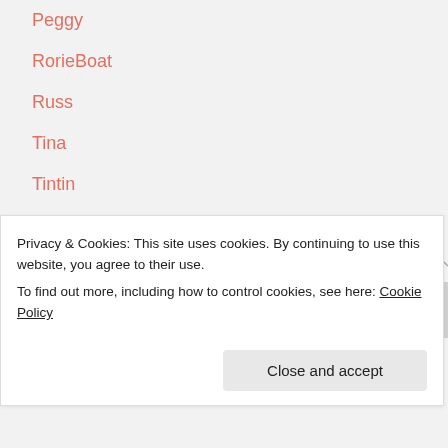Peggy
RorieBoat
Russ
Tina
Tintin
Wendy
FOOD BLOGGERS
Angela (Oh She Glows)
Privacy & Cookies: This site uses cookies. By continuing to use this website, you agree to their use.
To find out more, including how to control cookies, see here: Cookie Policy
Close and accept